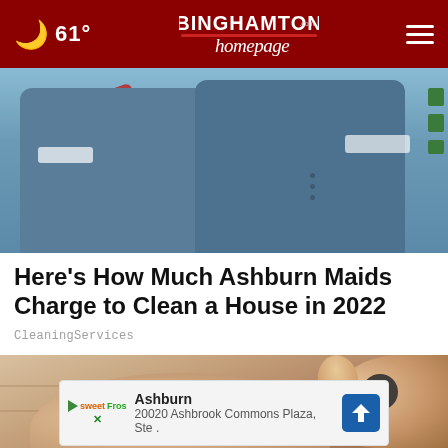61° | BinghamtonHomepage.com
[Figure (photo): Two people wearing blue short-sleeve work uniforms with name badges, standing in front of a vehicle. A red object and green stripes are visible in the background.]
Here's How Much Ashburn Maids Charge to Clean a House in 2022
CleaningServices
[Figure (photo): Close-up photo of a human foot/heel being held by a hand, on a light wooden surface background.]
Ashburn
20020 Ashbrook Commons Plaza, Ste .